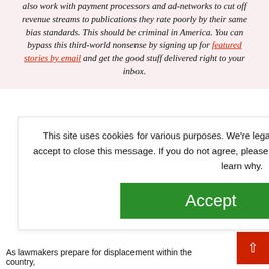also work with payment processors and ad-networks to cut off revenue streams to publications they rate poorly by their same bias standards. This should be criminal in America. You can bypass this third-world nonsense by signing up for featured stories by email and get the good stuff delivered right to your inbox.
This site uses cookies for various purposes. We're legally required to request your consent. Click accept to close this message. If you do not agree, please immediately exit the service or click more to learn why.
Accept
More
MAINS
[Figure (screenshot): Advertisement banner with blue background and orange Get Started button]
As lawmakers prepare for displacement within the country,